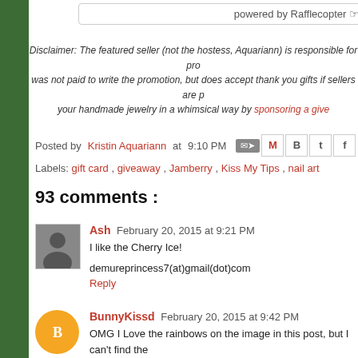powered by Rafflecopter
Disclaimer: The featured seller (not the hostess, Aquariann) is responsible for pro... was not paid to write the promotion, but does accept thank you gifts if sellers are p... your handmade jewelry in a whimsical way by sponsoring a give...
Posted by Kristin Aquariann at 9:10 PM
Labels: gift card , giveaway , Jamberry , Kiss My Tips , nail art
93 comments :
Ash February 20, 2015 at 9:21 PM
I like the Cherry Ice!
demureprincess7(at)gmail(dot)com
Reply
BunnyKissd February 20, 2015 at 9:42 PM
OMG I Love the rainbows on the image in this post, but I can't find the...